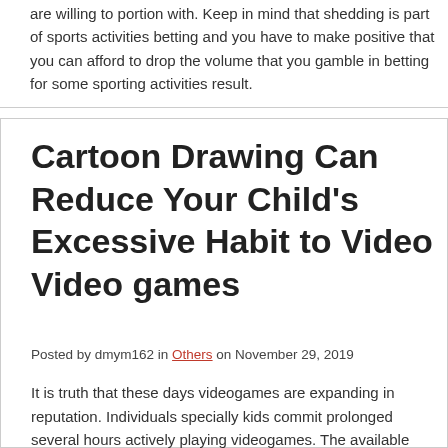are willing to portion with. Keep in mind that shedding is part of sports activities betting and you have to make positive that you can afford to drop the volume that you gamble in betting for some sporting activities result.
Cartoon Drawing Can Reduce Your Child's Excessive Habit to Video Video games
Posted by dmym162 in Others on November 29, 2019
It is truth that these days videogames are expanding in reputation. Individuals specially kids commit prolonged several hours actively playing videogames. The available game choices are truly varied. There are numerous variations of PlayStation, Xbox and other gaming consoles. Other than